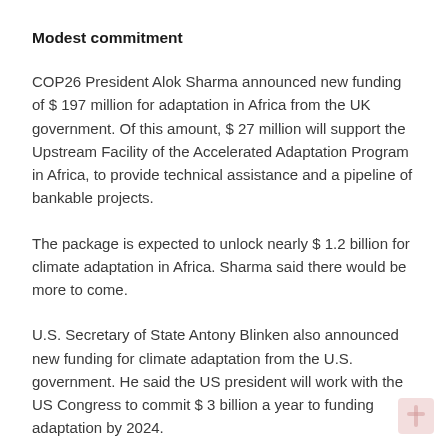Modest commitment
COP26 President Alok Sharma announced new funding of $ 197 million for adaptation in Africa from the UK government. Of this amount, $ 27 million will support the Upstream Facility of the Accelerated Adaptation Program in Africa, to provide technical assistance and a pipeline of bankable projects.
The package is expected to unlock nearly $ 1.2 billion for climate adaptation in Africa. Sharma said there would be more to come.
U.S. Secretary of State Antony Blinken also announced new funding for climate adaptation from the U.S. government. He said the US president will work with the US Congress to commit $ 3 billion a year to funding adaptation by 2024.